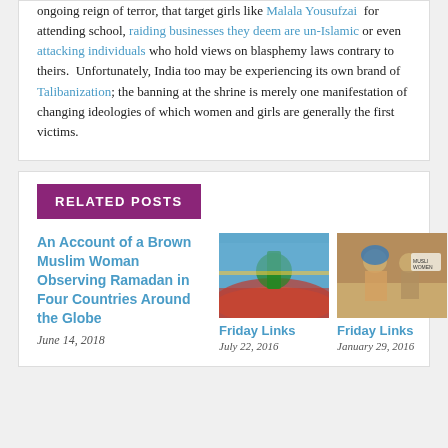ongoing reign of terror, that target girls like Malala Yousufzai for attending school, raiding businesses they deem are un-Islamic or even attacking individuals who hold views on blasphemy laws contrary to theirs.  Unfortunately, India too may be experiencing its own brand of Talibanization; the banning at the shrine is merely one manifestation of changing ideologies of which women and girls are generally the first victims.
RELATED POSTS
An Account of a Brown Muslim Woman Observing Ramadan in Four Countries Around the Globe
June 14, 2018
[Figure (photo): Stadium with athlete running on track]
[Figure (photo): Women at a protest holding signs]
Friday Links
July 22, 2016
Friday Links
January 29, 2016